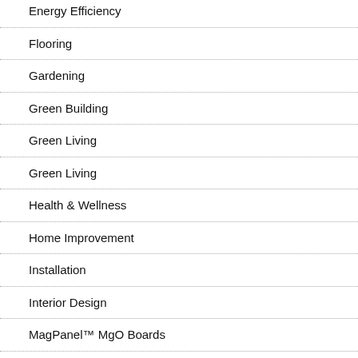Energy Efficiency
Flooring
Gardening
Green Building
Green Living
Green Living
Health & Wellness
Home Improvement
Installation
Interior Design
MagPanel™ MgO Boards
Maintenance & Care
Misc.
News & Current Events
Plywood